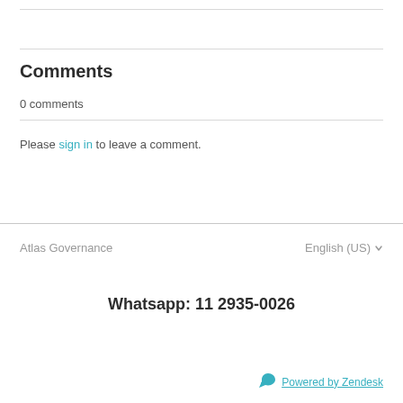Comments
0 comments
Please sign in to leave a comment.
Atlas Governance
English (US)
Whatsapp: 11 2935-0026
Powered by Zendesk